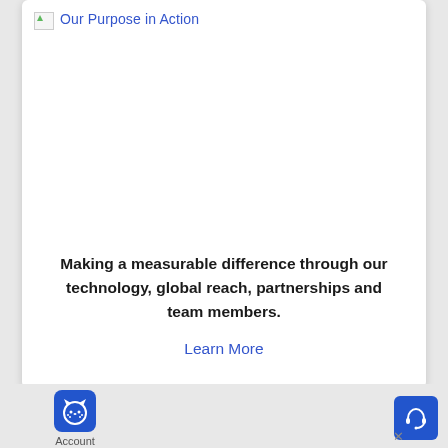Our Purpose in Action
[Figure (illustration): Large image area showing 'Our Purpose in Action' content (image not loaded/broken)]
Making a measurable difference through our technology, global reach, partnerships and team members.
Learn More
[Figure (logo): Blue rounded square logo with cat/face icon, labeled 'Account']
[Figure (illustration): Blue rounded square button with headphone/support icon]